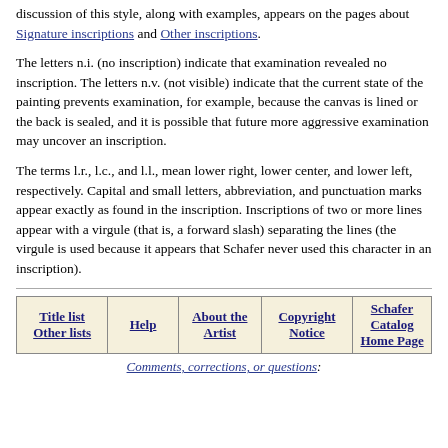discussion of this style, along with examples, appears on the pages about Signature inscriptions and Other inscriptions.
The letters n.i. (no inscription) indicate that examination revealed no inscription. The letters n.v. (not visible) indicate that the current state of the painting prevents examination, for example, because the canvas is lined or the back is sealed, and it is possible that future more aggressive examination may uncover an inscription.
The terms l.r., l.c., and l.l., mean lower right, lower center, and lower left, respectively. Capital and small letters, abbreviation, and punctuation marks appear exactly as found in the inscription. Inscriptions of two or more lines appear with a virgule (that is, a forward slash) separating the lines (the virgule is used because it appears that Schafer never used this character in an inscription).
| Title list Other lists | Help | About the Artist | Copyright Notice | Schafer Catalog Home Page |
| --- | --- | --- | --- | --- |
Comments, corrections, or questions: